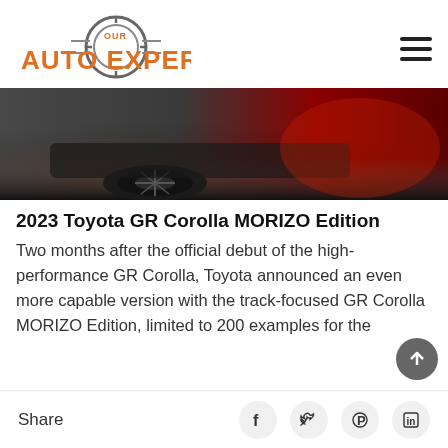[Figure (logo): Our Auto Expert logo with orange text and circular gear/tire graphic]
[Figure (photo): Underside and rear of a sports car on a dark red/grey studio background]
2023 Toyota GR Corolla MORIZO Edition
Two months after the official debut of the high-performance GR Corolla, Toyota announced an even more capable version with the track-focused GR Corolla MORIZO Edition, limited to 200 examples for the
Share